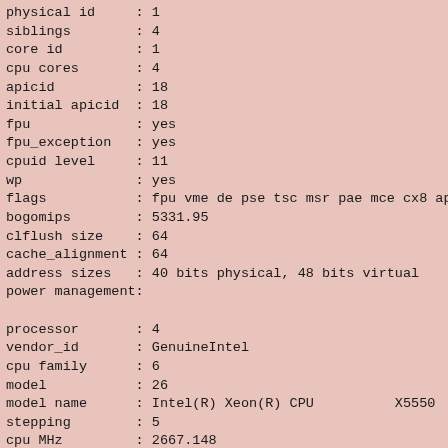physical id     : 1
siblings        : 4
core id         : 1
cpu cores       : 4
apicid          : 18
initial apicid  : 18
fpu             : yes
fpu_exception   : yes
cpuid level     : 11
wp              : yes
flags           : fpu vme de pse tsc msr pae mce cx8 apic mtr
bogomips        : 5331.95
clflush size    : 64
cache_alignment : 64
address sizes   : 40 bits physical, 48 bits virtual
power management:

processor       : 4
vendor_id       : GenuineIntel
cpu family      : 6
model           : 26
model name      : Intel(R) Xeon(R) CPU          X5550  @ 2.6
stepping        : 5
cpu MHz         : 2667.148
cache size      : 8192 KB
physical id     : 0
siblings        : 4
core id         : 2
cpu cores       : 4
apicid          : 4
initial apicid  : 4
fpu             : yes